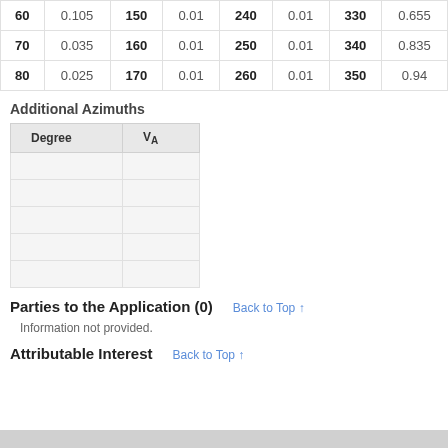| 60 | 0.105 | 150 | 0.01 | 240 | 0.01 | 330 | 0.655 |
| 70 | 0.035 | 160 | 0.01 | 250 | 0.01 | 340 | 0.835 |
| 80 | 0.025 | 170 | 0.01 | 260 | 0.01 | 350 | 0.94 |
Additional Azimuths
| Degree | VA |
| --- | --- |
|   |   |
|   |   |
|   |   |
|   |   |
|   |   |
Parties to the Application (0)
Information not provided.
Attributable Interest